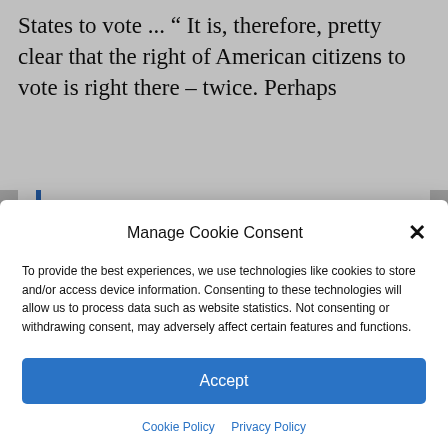States to vote ... “ It is, therefore, pretty clear that the right of American citizens to vote is right there – twice. Perhaps
Manage Cookie Consent
To provide the best experiences, we use technologies like cookies to store and/or access device information. Consenting to these technologies will allow us to process data such as website statistics. Not consenting or withdrawing consent, may adversely affect certain features and functions.
Accept
Cookie Policy  Privacy Policy
be permitted to run for any